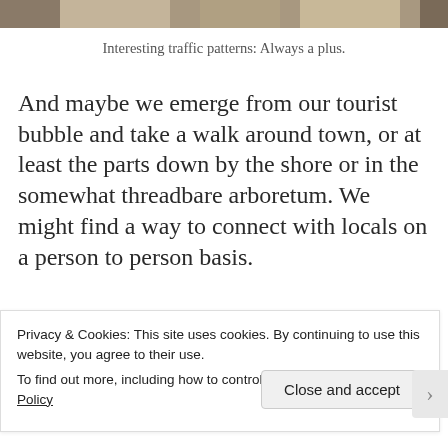[Figure (photo): Top strip of a photo showing animals (likely dogs or goats) on a street]
Interesting traffic patterns: Always a plus.
And maybe we emerge from our tourist bubble and take a walk around town, or at least the parts down by the shore or in the somewhat threadbare arboretum. We might find a way to connect with locals on a person to person basis.
Here's a revealing example of that
Privacy & Cookies: This site uses cookies. By continuing to use this website, you agree to their use.
To find out more, including how to control cookies, see here: Cookie Policy